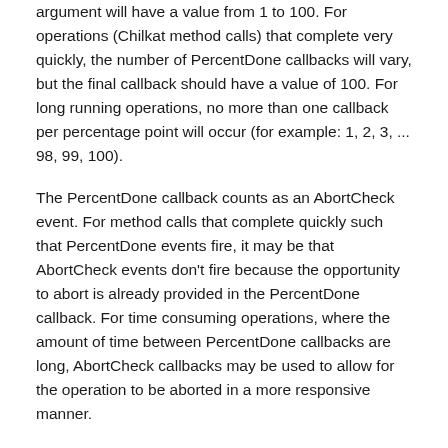argument will have a value from 1 to 100. For operations (Chilkat method calls) that complete very quickly, the number of PercentDone callbacks will vary, but the final callback should have a value of 100. For long running operations, no more than one callback per percentage point will occur (for example: 1, 2, 3, ... 98, 99, 100).
The PercentDone callback counts as an AbortCheck event. For method calls that complete quickly such that PercentDone events fire, it may be that AbortCheck events don't fire because the opportunity to abort is already provided in the PercentDone callback. For time consuming operations, where the amount of time between PercentDone callbacks are long, AbortCheck callbacks may be used to allow for the operation to be aborted in a more responsive manner.
The abort output argument provides a means for aborting the operation. Setting it to true will cause the